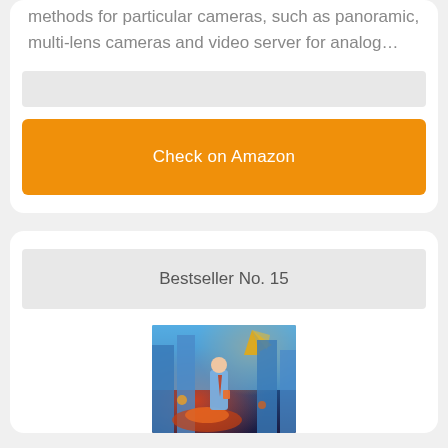methods for particular cameras, such as panoramic, multi-lens cameras and video server for analog…
Check on Amazon
Bestseller No. 15
[Figure (photo): Movie poster or product image showing a person in a blue shirt holding a cup, with a cityscape and explosive action scene in the background, orange and blue tones]